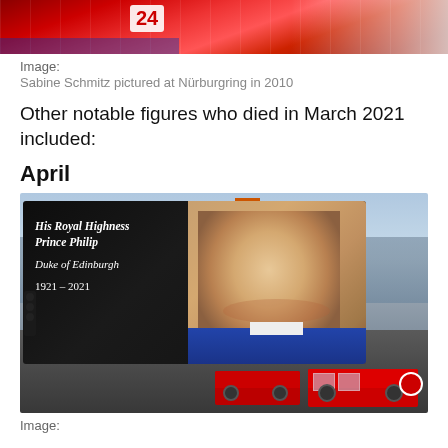[Figure (photo): Partial view of colorful racing uniforms/jerseys with number 24 visible, at Nürburgring]
Image:
Sabine Schmitz pictured at Nürburgring in 2010
Other notable figures who died in March 2021 included:
April
[Figure (photo): Large digital billboard in a city street showing a memorial tribute to Prince Philip with text: 'His Royal Highness Prince Philip Duke of Edinburgh 1921 – 2021' alongside a smiling portrait of Prince Philip. Red double-decker buses visible on the street below.]
Image: